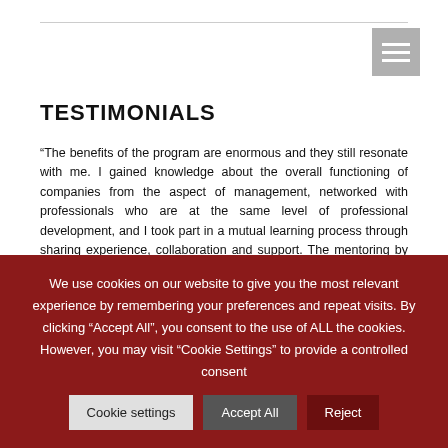TESTIMONIALS
“The benefits of the program are enormous and they still resonate with me. I gained knowledge about the overall functioning of companies from the aspect of management, networked with professionals who are at the same level of professional development, and I took part in a mutual learning process through sharing experience, collaboration and support. The mentoring by experts from our country and abroad, who selflessly shared their knowledge and experience, gave me motivation for even greater professional development.”
Monika Kostovska
We use cookies on our website to give you the most relevant experience by remembering your preferences and repeat visits. By clicking “Accept All”, you consent to the use of ALL the cookies. However, you may visit "Cookie Settings" to provide a controlled consent